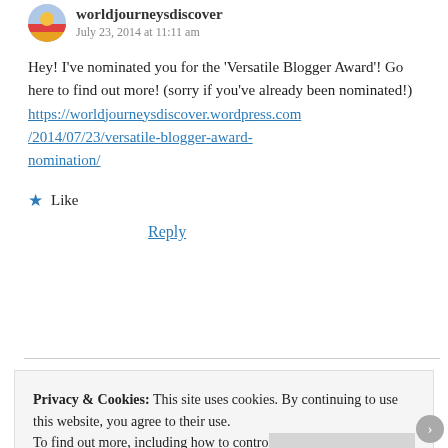worldjourneysdiscover
July 23, 2014 at 11:11 am
Hey! I've nominated you for the 'Versatile Blogger Award'! Go here to find out more! (sorry if you've already been nominated!) https://worldjourneysdiscover.wordpress.com/2014/07/23/versatile-blogger-award-nomination/
★ Like
Reply
Privacy & Cookies: This site uses cookies. By continuing to use this website, you agree to their use.
To find out more, including how to control cookies, see here:
Cookie Policy
Close and accept